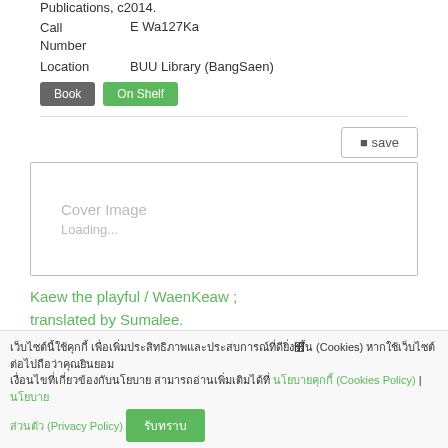Publications, c2014.
Call Number: E Wa127Ka
Location: BUU Library (BangSaen)
Book | On Shelf
[Figure (other): Save button and cover image loading placeholder box]
Kaew the playful / WaenKeaw ; translated by Sumalee.
Cookie consent bar with Thai text, Cookies Policy, Privacy Policy link and accept button